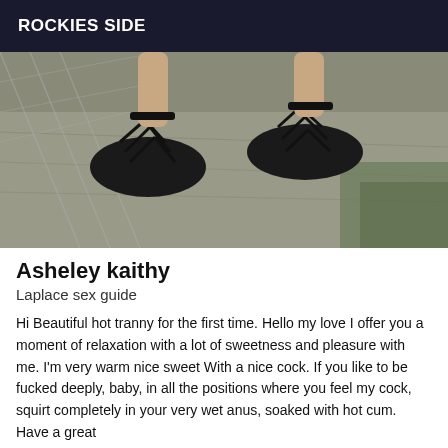ROCKIES SIDE
[Figure (photo): Overhead view of a person's feet wearing black lace-up ballet flats with ankle straps, standing on a concrete/gravel surface with dry grass visible, photographed from above.]
Asheley kaithy
Laplace sex guide
Hi Beautiful hot tranny for the first time. Hello my love I offer you a moment of relaxation with a lot of sweetness and pleasure with me. I'm very warm nice sweet With a nice cock. If you like to be fucked deeply, baby, in all the positions where you feel my cock, squirt completely in your very wet anus, soaked with hot cum. Have a great